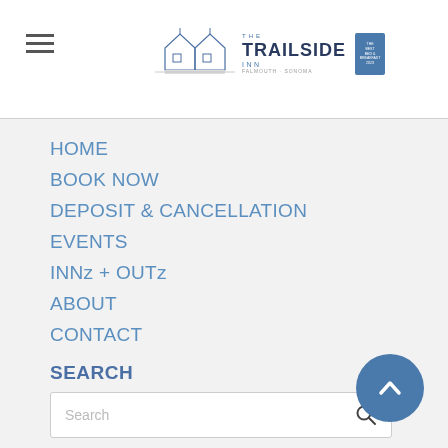THE TRAILSIDE INN
HOME
BOOK NOW
DEPOSIT & CANCELLATION
EVENTS
INNz + OUTz
ABOUT
CONTACT
SEARCH
FOLLOW
[Figure (other): Social media icons: Facebook, Instagram, YouTube]
[Figure (other): Scroll-to-top button with upward chevron arrow]